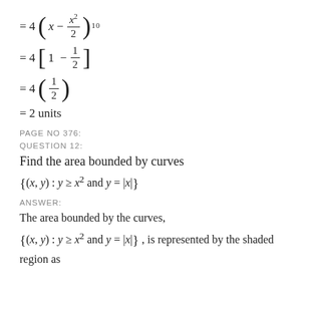PAGE NO 376:
QUESTION 12:
Find the area bounded by curves
ANSWER:
The area bounded by the curves,
\{(x,y): y \geq x^2 \text{ and } y = |x|\}, is represented by the shaded region as